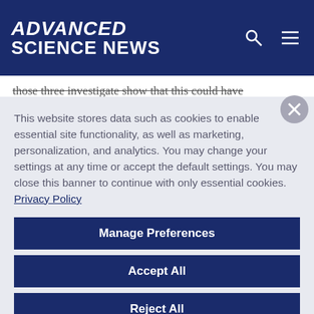ADVANCED SCIENCE NEWS
led the way to life on Earth.
This website stores data such as cookies to enable essential site functionality, as well as marketing, personalization, and analytics. You may change your settings at any time or accept the default settings. You may close this banner to continue with only essential cookies. Privacy Policy
Manage Preferences
Accept All
Reject All